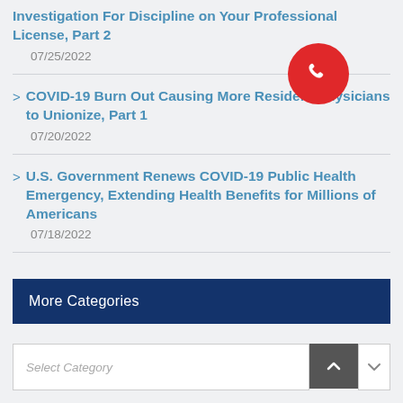Investigation For Discipline on Your Professional License, Part 2
07/25/2022
COVID-19 Burn Out Causing More Resident Physicians to Unionize, Part 1
07/20/2022
U.S. Government Renews COVID-19 Public Health Emergency, Extending Health Benefits for Millions of Americans
07/18/2022
More Categories
Select Category